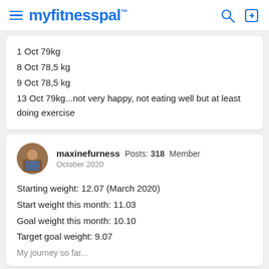myfitnesspal
1 Oct 79kg
8 Oct 78,5 kg
9 Oct 78,5 kg
13 Oct 79kg...not very happy, not eating well but at least doing exercise
maxinefurness Posts: 318 Member
October 2020

Starting weight: 12.07 (March 2020)
Start weight this month: 11.03
Goal weight this month: 10.10
Target goal weight: 9.07